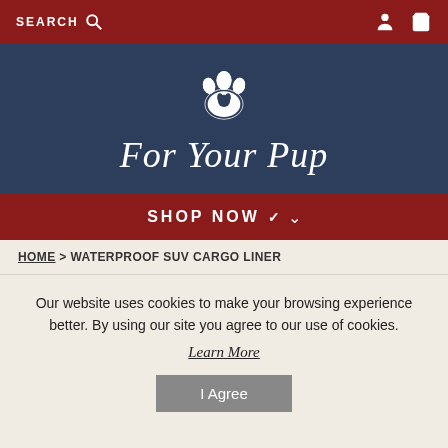SEARCH | [account icon] [cart icon]
[Figure (logo): For Your Pup logo with paw print icon on dark navy background]
SHOP NOW
HOME > WATERPROOF SUV CARGO LINER
Our website uses cookies to make your browsing experience better. By using our site you agree to our use of cookies.
Learn More
I Agree